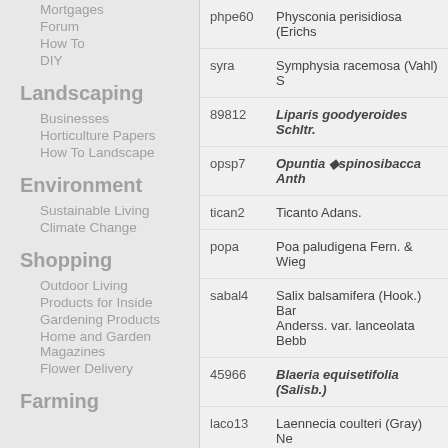Mortgages
Forum
How To
DIY
Landscaping
Businesses
Horticulture Papers
How To Landscape
Environment
Sustainable Living
Climate Change
Shopping
Outdoor Living
Products for Inside
Gardening Products
Home and Garden Magazines
Flower Delivery
Farming
| code | name |
| --- | --- |
| phpe60 | Physconia perisidiosa (Erichs... |
| syra | Symphysia racemosa (Vahl) S... |
| 89812 | Liparis goodyeroides Schltr. |
| opsp7 | Opuntia ◆spinosibacca Anth... |
| tican2 | Ticanto Adans. |
| popa | Poa paludigena Fern. & Wieg... |
| sabal4 | Salix balsamifera (Hook.) Bar... Anderss. var. lanceolata Bebb... |
| 45966 | Blaeria equisetifolia (Salisb.) |
| laco13 | Laennecia coulteri (Gray) Ne... |